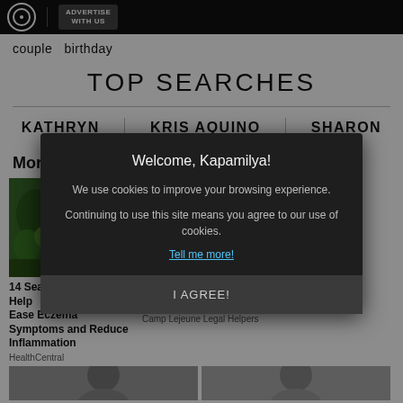ADVERTISE WITH US
couple birthday
TOP SEARCHES
KATHRYN | KRIS AQUINO | SHARON
More from around the web
[Figure (photo): Green vegetables and fruits]
14 Seasonal Foods That Help Ease Eczema Symptoms and Reduce Inflammation
HealthCentral
at Camp 953-1987? Camp Lejeune Legal Helpers
Welcome, Kapamilya!

We use cookies to improve your browsing experience.

Continuing to use this site means you agree to our use of cookies.

Tell me more!

I AGREE!